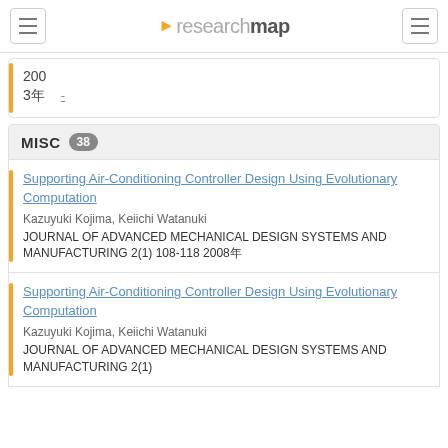researchmap
200
3年
MISC 38
Supporting Air-Conditioning Controller Design Using Evolutionary Computation
Kazuyuki Kojima, Keiichi Watanuki
JOURNAL OF ADVANCED MECHANICAL DESIGN SYSTEMS AND MANUFACTURING 2(1) 108-118 2008年
Supporting Air-Conditioning Controller Design Using Evolutionary Computation
Kazuyuki Kojima, Keiichi Watanuki
JOURNAL OF ADVANCED MECHANICAL DESIGN SYSTEMS AND MANUFACTURING 2(1)